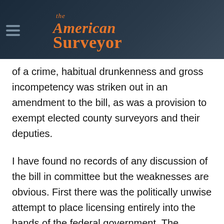The American Surveyor
of a crime, habitual drunkenness and gross incompetency was striken out in an amendment to the bill, as was a provision to exempt elected county surveyors and their deputies.
I have found no records of any discussion of the bill in committee but the weaknesses are obvious. First there was the politically unwise attempt to place licensing entirely into the hands of the federal government. The federally appointed Surveyor General (in New Mexico the office was abolished by Act of March 1, 1925, 43 Stat. 1141) was not responsible to anybody on the state and local level. On the other hand there were no